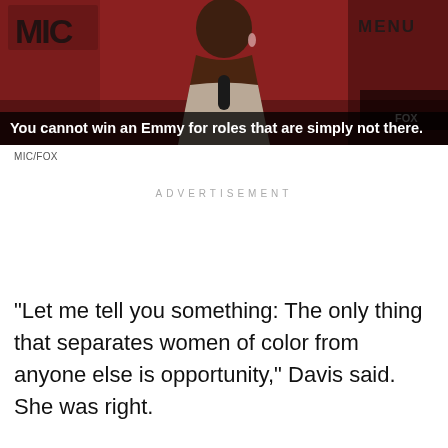[Figure (screenshot): Video screenshot of a woman speaking at a podium against a red background, with MIC logo on the left and MENU text on the right. Subtitle text reads: 'You cannot win an Emmy for roles that are simply not there.']
MIC/FOX
ADVERTISEMENT
"Let me tell you something: The only thing that separates women of color from anyone else is opportunity," Davis said. She was right.